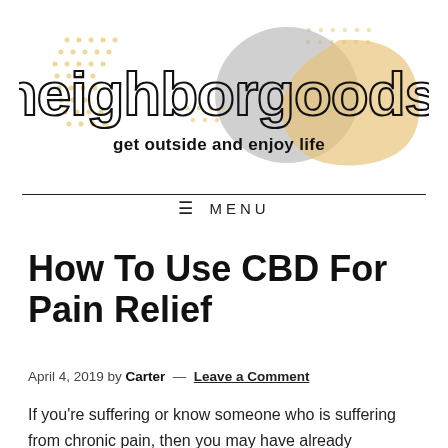[Figure (logo): Neighborgoods logo with decorative dots and overlapping gray and orange/tan circles. Large outlined text reads 'neighborgoods' with tagline 'get outside and enjoy life' in bold below.]
≡  MENU
How To Use CBD For Pain Relief
April 4, 2019 by Carter — Leave a Comment
If you're suffering or know someone who is suffering from chronic pain, then you may have already researched various natural pain treatments. You may have come